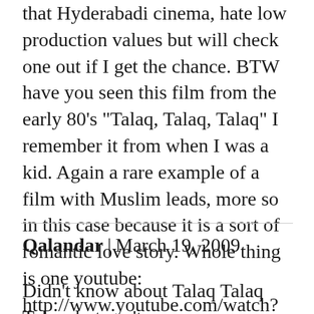that Hyderabadi cinema, hate low production values but will check one out if I get the chance. BTW have you seen this film from the early 80's "Talaq, Talaq, Talaq" I remember it from when I was a kid. Again a rare example of a film with Muslim leads, more so in this case because it is a sort of romantic love story. Whole thing is one youtube: http://www.youtube.com/watch?v=hRTL6IAuyZw
Qalandar | March 19, 2009
Didn't know about Talaq Talaq Talaq, but can't pass up a new film, thanks! No worries